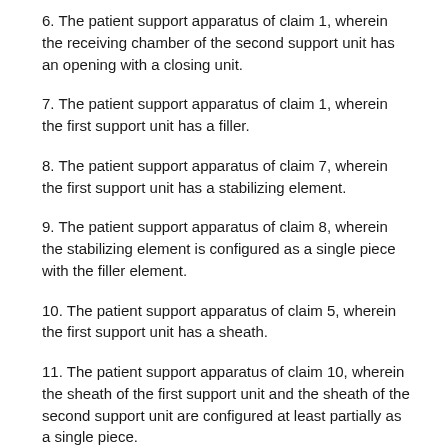6. The patient support apparatus of claim 1, wherein the receiving chamber of the second support unit has an opening with a closing unit.
7. The patient support apparatus of claim 1, wherein the first support unit has a filler.
8. The patient support apparatus of claim 7, wherein the first support unit has a stabilizing element.
9. The patient support apparatus of claim 8, wherein the stabilizing element is configured as a single piece with the filler element.
10. The patient support apparatus of claim 5, wherein the first support unit has a sheath.
11. The patient support apparatus of claim 10, wherein the sheath of the first support unit and the sheath of the second support unit are configured at least partially as a single piece.
12. The patient support apparatus of claim 1, further comprising a multi-layered structure, the multi-layered structure having at least one first layer and at least one second layer, the at least one first layer comprising the first support unit, and the at least one second layer comprising the second